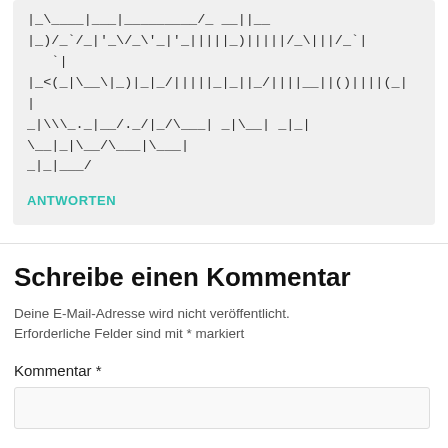|_\____|___|_________/_ __||__
|_)/_`/_|'_\/_\'_|'_|||||_)|||||/_\|||/_`|
|_<(_|\__\|_)|_|_/|||||_|_||_/||||__||()||||(_|
|
_|\\_._|__/._/|_/\___|_|\__| _|_|
\__|_|\__/\___|\__|
_|_|___/
ANTWORTEN
Schreibe einen Kommentar
Deine E-Mail-Adresse wird nicht veröffentlicht. Erforderliche Felder sind mit * markiert
Kommentar *